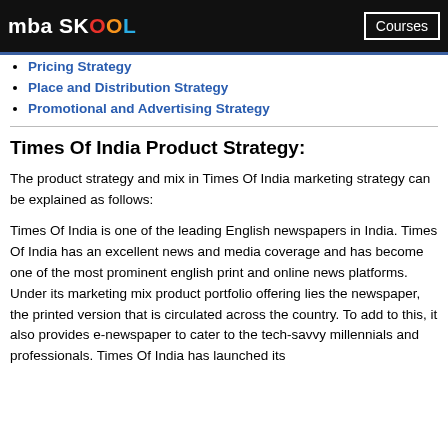mba SKOOL | Courses
Pricing Strategy
Place and Distribution Strategy
Promotional and Advertising Strategy
Times Of India Product Strategy:
The product strategy and mix in Times Of India marketing strategy can be explained as follows:
Times Of India is one of the leading English newspapers in India. Times Of India has an excellent news and media coverage and has become one of the most prominent english print and online news platforms. Under its marketing mix product portfolio offering lies the newspaper, the printed version that is circulated across the country. To add to this, it also provides e-newspaper to cater to the tech-savvy millennials and professionals. Times Of India has launched its